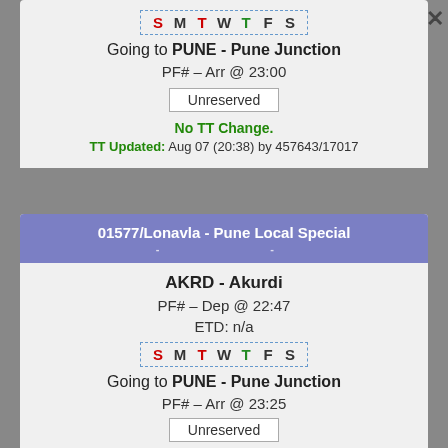S M T W T F S (days row, S and T highlighted red, T highlighted green)
Going to PUNE - Pune Junction
PF# – Arr @ 23:00
Unreserved
No TT Change.
TT Updated: Aug 07 (20:38) by 457643/17017
01577/Lonavla - Pune Local Special
AKRD - Akurdi
PF# – Dep @ 22:47
ETD: n/a
S M T W T F S (days row)
Going to PUNE - Pune Junction
PF# – Arr @ 23:25
Unreserved